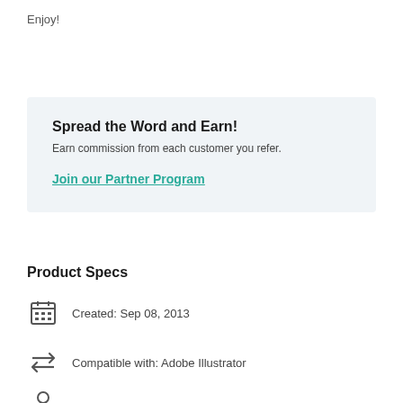Enjoy!
Spread the Word and Earn!
Earn commission from each customer you refer.
Join our Partner Program
Product Specs
Created: Sep 08, 2013
Compatible with: Adobe Illustrator